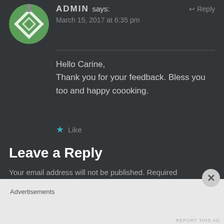[Figure (illustration): Circular avatar with green and white geometric/quilt pattern design on dark background, with small user icon overlay at top]
ADMIN says:
↩ Reply
March 15, 2017 at 6:35 pm
Hello Carine,
Thank you for your feedback. Bless you too and happy coooking.
★ Like
Leave a Reply
Your email address will not be published. Required
Advertisements